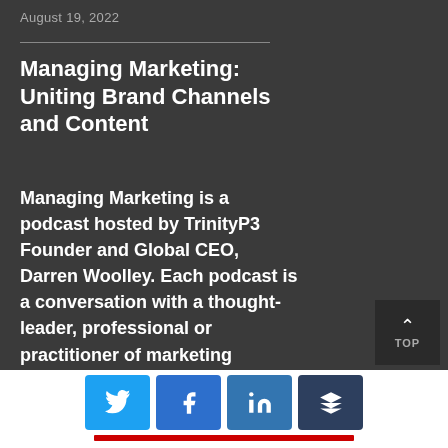August 19, 2022
Managing Marketing: Uniting Brand Channels and Content
Managing Marketing is a podcast hosted by TrinityP3 Founder and Global CEO, Darren Woolley. Each podcast is a conversation with a thought-leader, professional or practitioner of marketing
[Figure (infographic): Social share buttons row: Twitter (blue bird icon), Facebook (blue f icon), LinkedIn (blue in icon), Buffer (dark blue layers icon), with a red bar below them. Also a dark 'TOP' back-to-top button in bottom right.]